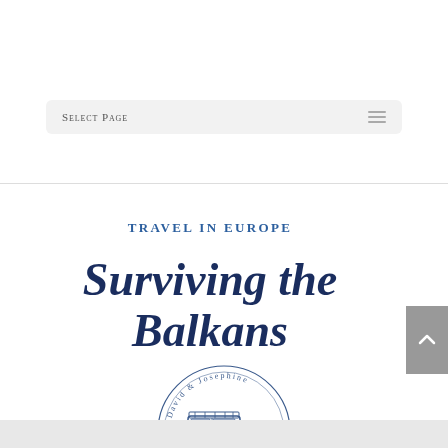Select Page
TRAVEL in EUROPE
Surviving the Balkans
[Figure (logo): Circular logo with an illustrated blue Land Rover/4x4 vehicle in the center, surrounded by circular text reading 'David & Josephine' with decorative elements, in a blue hand-drawn style.]